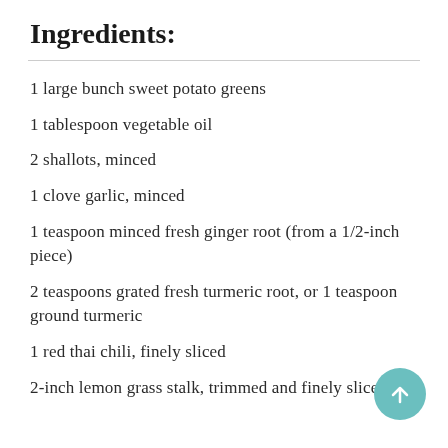Ingredients:
1 large bunch sweet potato greens
1 tablespoon vegetable oil
2 shallots, minced
1 clove garlic, minced
1 teaspoon minced fresh ginger root (from a 1/2-inch piece)
2 teaspoons grated fresh turmeric root, or 1 teaspoon ground turmeric
1 red thai chili, finely sliced
2-inch lemon grass stalk, trimmed and finely sliced